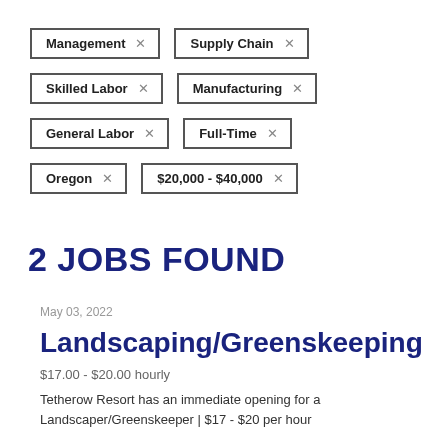Management ×
Supply Chain ×
Skilled Labor ×
Manufacturing ×
General Labor ×
Full-Time ×
Oregon ×
$20,000 - $40,000 ×
2 JOBS FOUND
May 03, 2022
Landscaping/Greenskeeping
$17.00 - $20.00 hourly
Tetherow Resort has an immediate opening for a Landscaper/Greenskeeper | $17 - $20 per hour